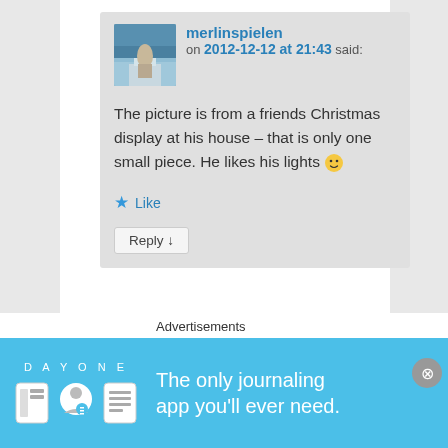merlinspielen on 2012-12-12 at 21:43 said:
The picture is from a friends Christmas display at his house – that is only one small piece. He likes his lights 😀
★ Like
Reply ↓
Advertisements
[Figure (screenshot): Day One app advertisement banner with blue background showing app icons and text 'The only journaling app you'll ever need.']